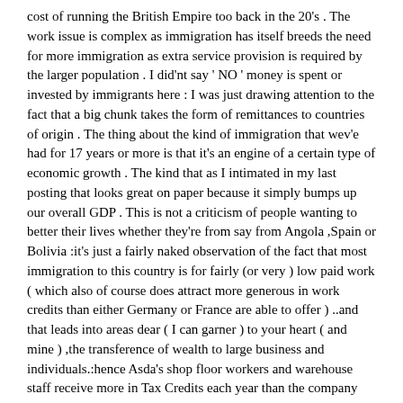cost of running the British Empire too back in the 20's . The work issue is complex as immigration has itself breeds the need for more immigration as extra service provision is required by the larger population . I did'nt say ' NO ' money is spent or invested by immigrants here : I was just drawing attention to the fact that a big chunk takes the form of remittances to countries of origin . The thing about the kind of immigration that wev'e had for 17 years or more is that it's an engine of a certain type of economic growth . The kind that as I intimated in my last posting that looks great on paper because it simply bumps up our overall GDP . This is not a criticism of people wanting to better their lives whether they're from say from Angola ,Spain or Bolivia :it's just a fairly naked observation of the fact that most immigration to this country is for fairly (or very ) low paid work ( which also of course does attract more generous in work credits than either Germany or France are able to offer ) ..and that leads into areas dear ( I can garner ) to your heart ( and mine ) ,the transference of wealth to large business and individuals.:hence Asda's shop floor workers and warehouse staff receive more in Tax Credits each year than the company pay's in corporation tax ! Madness or what . ? I'm broadly with your entire view of what has gone wrong with economics in the last 30 – 40 years but I do think ( pace Goodhart and Collier ) that inward migration on the scale we've been needs possibly at least a temporary slowing down (for a number of years ) while we take stock of the size of the impending baby boom and re think integration and assimilation. and then to be handled in a different way in the future . The multi cultural ideology of the 80's that viewed Ethnic minorities as not requiring basic education in British and / or European History ( as apparently it was not supposed to